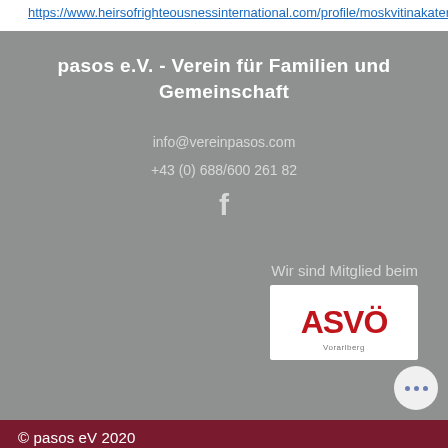https://www.heirsofrighteousnessinternational.com/profile/moskvitinakaterina42607/profile
pasos e.V. - Verein für Familien und Gemeinschaft
info@vereinpasos.com
+43 (0) 688/600 261 82
[Figure (logo): Facebook f icon in white]
Wir sind Mitglied beim
[Figure (logo): ASVÖ logo — red text on white background]
© pasos eV 2020